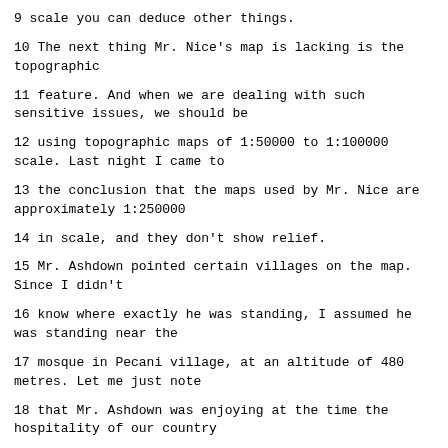9 scale you can deduce other things.
10 The next thing Mr. Nice's map is lacking is the topographic
11 feature. And when we are dealing with such sensitive issues, we should be
12 using topographic maps of 1:50000 to 1:100000 scale. Last night I came to
13 the conclusion that the maps used by Mr. Nice are approximately 1:250000
14 in scale, and they don't show relief.
15 Mr. Ashdown pointed certain villages on the map. Since I didn't
16 know where exactly he was standing, I assumed he was standing near the
17 mosque in Pecani village, at an altitude of 480 metres. Let me just note
18 that Mr. Ashdown was enjoying at the time the hospitality of our country
19 whereas Pecani village was under terrorist control.
20 So Mr. Ashdown mentioned the following villages: